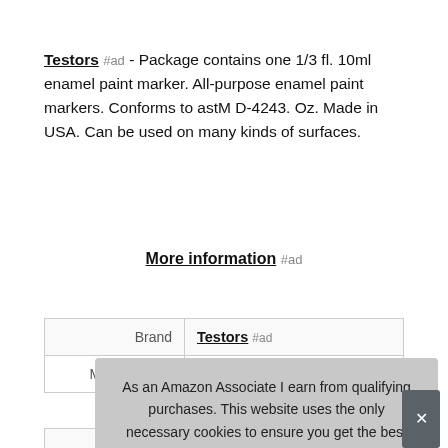Testors #ad - Package contains one 1/3 fl. 10ml enamel paint marker. All-purpose enamel paint markers. Conforms to astM D-4243. Oz. Made in USA. Can be used on many kinds of surfaces.
More information #ad
|  |  |
| --- | --- |
| Brand | Testors #ad |
| Manufacturer | Testors #ad |
As an Amazon Associate I earn from qualifying purchases. This website uses the only necessary cookies to ensure you get the best experience on our website. More information
|  |  |
| --- | --- |
| Width | 0.45 Inches |